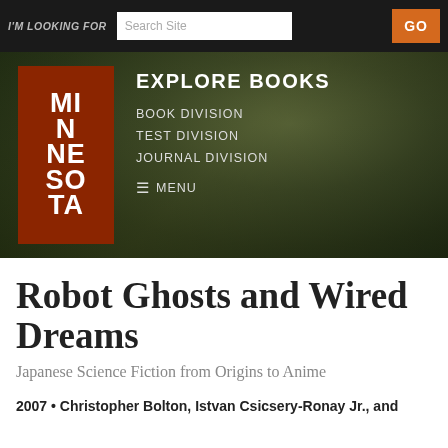I'M LOOKING FOR | Search Site | GO
[Figure (screenshot): University of Minnesota Press website banner with logo showing 'MINNESOTA' in white text on brown/red background, navigation links: EXPLORE BOOKS, BOOK DIVISION, TEST DIVISION, JOURNAL DIVISION, MENU on a dark green background]
Robot Ghosts and Wired Dreams
Japanese Science Fiction from Origins to Anime
2007 • Christopher Bolton, Istvan Csicsery-Ronay Jr., and